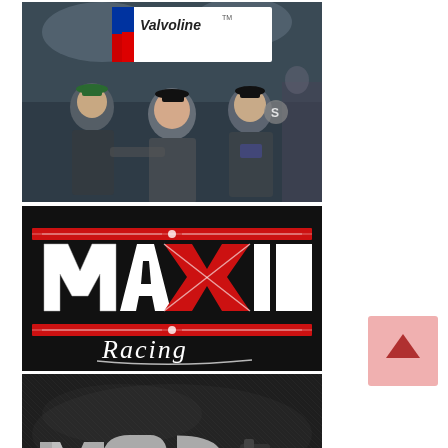[Figure (photo): Three people posing together at a racing event, holding a Valvoline banner/sign in the background. Indoor or nighttime event setting.]
[Figure (logo): Maxim Racing logo — bold red and white stylized text on black background with script 'Racing' underneath.]
[Figure (logo): MSP Mounts logo — silver stylized text on dark carbon-fiber textured background with a camera mount product image on the right side.]
[Figure (other): Scroll-to-top button — pink/salmon colored square button with a red upward-pointing arrow chevron, positioned in the lower right area.]